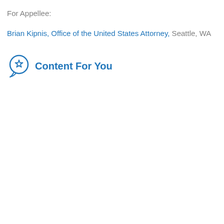For Appellee:
Brian Kipnis, Office of the United States Attorney, Seattle, WA
Content For You